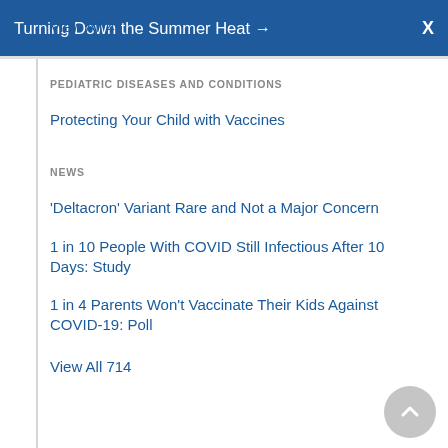Turning Down the Summer Heat →  X
View All 4
PEDIATRIC DISEASES AND CONDITIONS
Protecting Your Child with Vaccines
NEWS
'Deltacron' Variant Rare and Not a Major Concern
1 in 10 People With COVID Still Infectious After 10 Days: Study
1 in 4 Parents Won't Vaccinate Their Kids Against COVID-19: Poll
View All 714